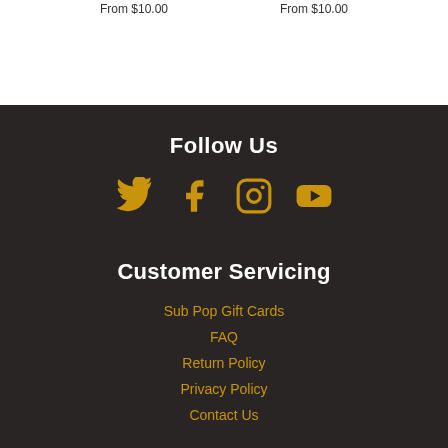From $10.00
From $10.00
Follow Us
[Figure (illustration): Social media icons: Twitter, Facebook, Instagram, YouTube in gold/amber color]
Customer Servicing
Sub Pop Gift Cards
FAQ
Return Policy
Privacy Policy
Contact Us